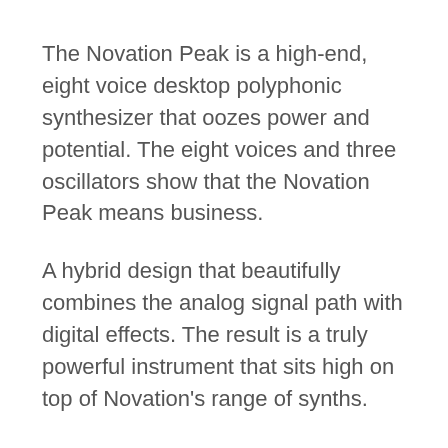The Novation Peak is a high-end, eight voice desktop polyphonic synthesizer that oozes power and potential. The eight voices and three oscillators show that the Novation Peak means business.
A hybrid design that beautifully combines the analog signal path with digital effects. The result is a truly powerful instrument that sits high on top of Novation's range of synths.
Chris Hugget, who collaborated on several other Novation products, was onboard again to help design the Novation Peak and it certainly shows.
The build-quality shines through and even though the asking price is high, the Novation